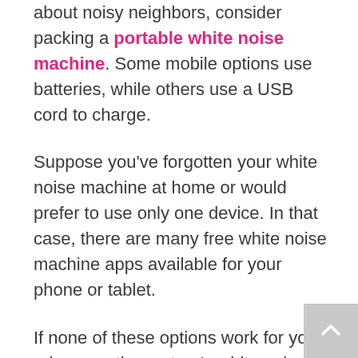about noisy neighbors, consider packing a portable white noise machine. Some mobile options use batteries, while others use a USB cord to charge.

Suppose you've forgotten your white noise machine at home or would prefer to use only one device. In that case, there are many free white noise machine apps available for your phone or tablet.

If none of these options work for you, rely on mother nature's white noise. Between the wind rustling the trees and the time spent in the fresh air, your kiddos will hopefully be ready to fall asleep.